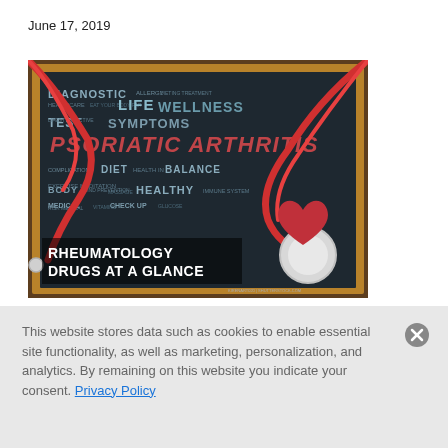June 17, 2019
[Figure (photo): A chalkboard with medical and psoriatic arthritis related words (Diagnostic, Life, Wellness, Test, Symptoms, Psoriatic Arthritis, Diet, Balance, Body, Healthy, Medical, Check Up) overlaid with a stethoscope and a red heart, captioned 'Rheumatology Drugs at a Glance']
Rheumatology Drugs at a Glance, Part 1: Psoriatic Arthritis
This website stores data such as cookies to enable essential site functionality, as well as marketing, personalization, and analytics. By remaining on this website you indicate your consent. Privacy Policy